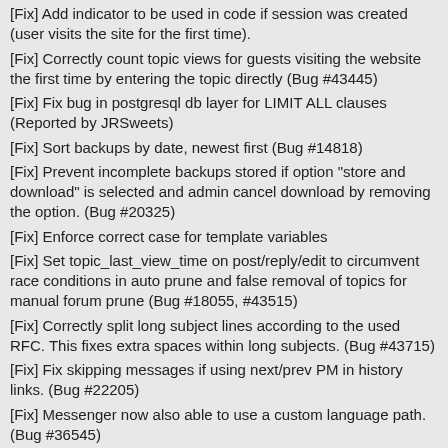[Fix] Add indicator to be used in code if session was created (user visits the site for the first time).
[Fix] Correctly count topic views for guests visiting the website the first time by entering the topic directly (Bug #43445)
[Fix] Fix bug in postgresql db layer for LIMIT ALL clauses (Reported by JRSweets)
[Fix] Sort backups by date, newest first (Bug #14818)
[Fix] Prevent incomplete backups stored if option "store and download" is selected and admin cancel download by removing the option. (Bug #20325)
[Fix] Enforce correct case for template variables
[Fix] Set topic_last_view_time on post/reply/edit to circumvent race conditions in auto prune and false removal of topics for manual forum prune (Bug #18055, #43515)
[Fix] Correctly split long subject lines according to the used RFC. This fixes extra spaces within long subjects. (Bug #43715)
[Fix] Fix skipping messages if using next/prev PM in history links. (Bug #22205)
[Fix] Messenger now also able to use a custom language path. (Bug #36545)